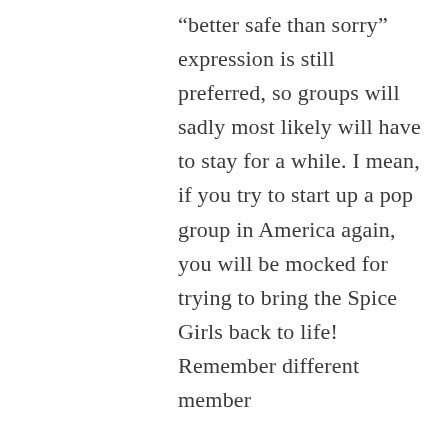“better safe than sorry” expression is still preferred, so groups will sadly most likely will have to stay for a while. I mean, if you try to start up a pop group in America again, you will be mocked for trying to bring the Spice Girls back to life! Remember different member